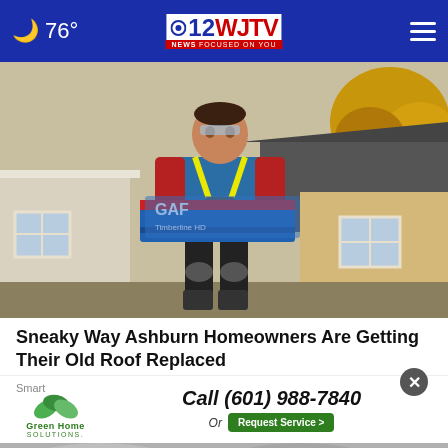🌙 76° | WJTV 12 News Focused On You
[Figure (photo): A roofer wearing blue shirt, yellow safety harness, red sleeves, and knee pads carrying a package of GAF Timberline HD roofing shingles in front of a house with a dark shingled roof and white trim windows, with autumn trees in background.]
Sneaky Way Ashburn Homeowners Are Getting Their Old Roof Replaced
Smart
[Figure (logo): Green Home Solutions logo with green leaf graphics]
Call (601) 988-7840 Or Request Service >